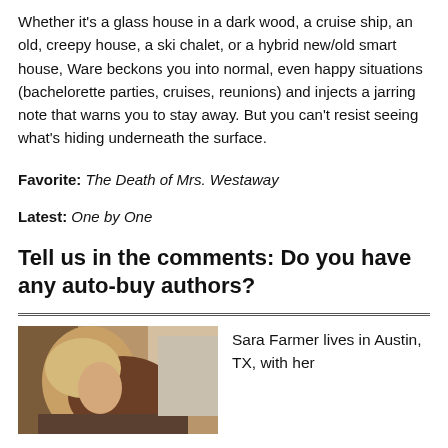Whether it's a glass house in a dark wood, a cruise ship, an old, creepy house, a ski chalet, or a hybrid new/old smart house, Ware beckons you into normal, even happy situations (bachelorette parties, cruises, reunions) and injects a jarring note that warns you to stay away. But you can't resist seeing what's hiding underneath the surface.
Favorite: The Death of Mrs. Westaway
Latest: One by One
Tell us in the comments: Do you have any auto-buy authors?
[Figure (photo): Photo of Sara Farmer, a woman with blonde and brown hair, indoors.]
Sara Farmer lives in Austin, TX, with her